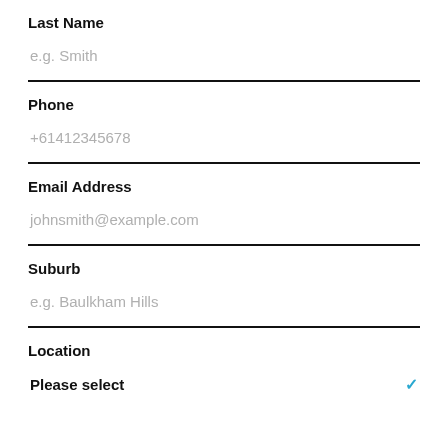Last Name
e.g. Smith
Phone
+61412345678
Email Address
johnsmith@example.com
Suburb
e.g. Baulkham Hills
Location
Please select